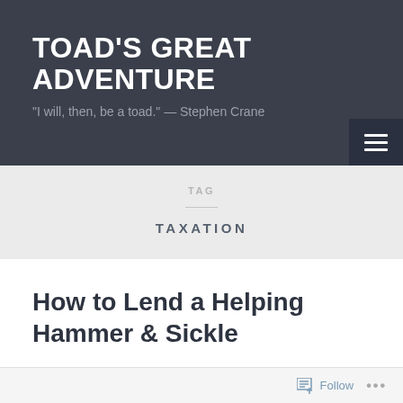TOAD'S GREAT ADVENTURE
"I will, then, be a toad." — Stephen Crane
TAG
TAXATION
How to Lend a Helping Hammer & Sickle
Follow